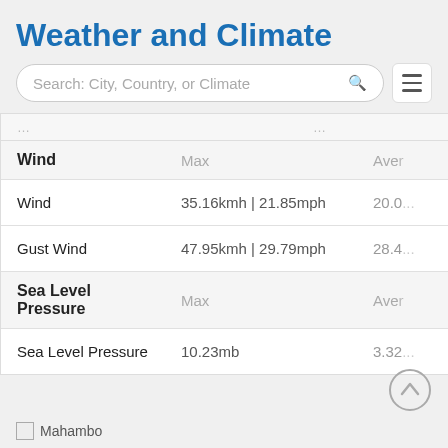Weather and Climate
| Wind | Max | Ave |
| --- | --- | --- |
| Wind | 35.16kmh | 21.85mph | 20.0... |
| Gust Wind | 47.95kmh | 29.79mph | 28.4... |
| Sea Level Pressure | Max | Ave |
| Sea Level Pressure | 10.23mb | 3.32... |
Mahambo